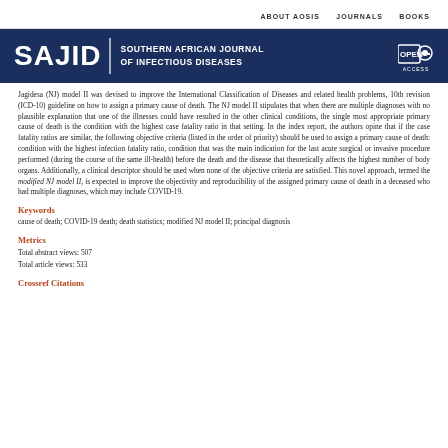ABOUT AOSIS   JOURNALS   BOOKS
[Figure (logo): SAJID Southern African Journal of Infectious Diseases journal header with Open Access logo on dark navy background]
Jagidesa (NJ) model II was devised to improve the International Classification of Diseases and related health problems, 10th revision (ICD-10) guideline on how to assign a primary cause of death. The NJ model II stipulates that when there are multiple diagnoses with no plausible explanation that one of the illnesses could have resulted in the other clinical conditions, the single most appropriate primary cause of death is the condition with the highest case fatality ratio in that setting. In the index report, the authors opine that if the case fatality ratios are similar, the following objective criteria (listed in the order of priority) should be used to assign a primary cause of death: condition with the highest infection fatality ratio, condition that was the main indication for the last acute surgical or invasive procedure performed (during the course of the same ill-health) before the death and the disease that theoretically affects the highest number of body organs. Additionally, a clinical descriptor should be used when none of the objective criteria are satisfied. This novel approach, termed the modified NJ model II, is expected to improve the objectivity and reproducibility of the assigned primary cause of death in a deceased who had multiple diagnoses, which may include COVID-19.
Keywords
cause of death; COVID-19 death; death statistics; modified NJ model II; principal diagnosis
Metrics
Total abstract views: 507
Total article views: 533
Crossref Citations